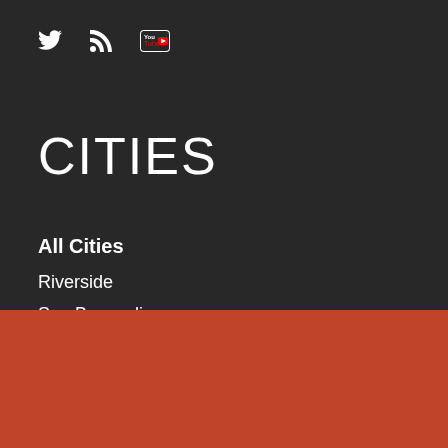[Figure (other): Social media icons: Twitter bird, RSS feed, YouTube]
CITIES
All Cities
Riverside
San Bernardino
Grab Our Weekly Newsletter
Subscribe now